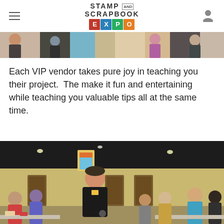Stamp and Scrapbook Expo
[Figure (photo): Top partial photo of a crafting expo vendor event, showing people at tables with supplies]
Each VIP vendor takes pure joy in teaching you their project.  The make it fun and entertaining while teaching you valuable tips all at the same time.
[Figure (photo): Man in black t-shirt holding up a craft product packet to a room full of seated attendees at a convention center]